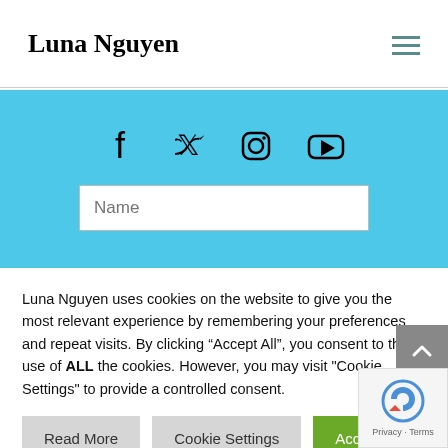Luna Nguyen
[Figure (infographic): Social media icons: Facebook, Twitter, Instagram, YouTube]
Name
Luna Nguyen uses cookies on the website to give you the most relevant experience by remembering your preferences and repeat visits. By clicking “Accept All”, you consent to the use of ALL the cookies. However, you may visit "Cookie Settings" to provide a controlled consent.
Read More
Cookie Settings
Accept All